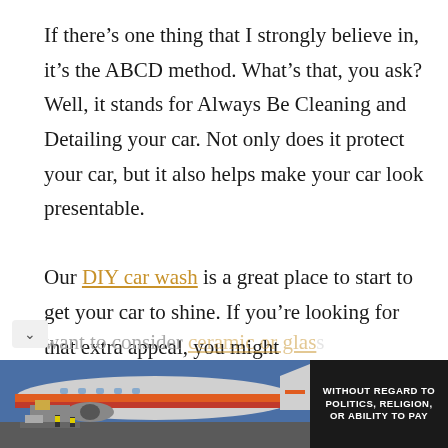If there's one thing that I strongly believe in, it's the ABCD method. What's that, you ask? Well, it stands for Always Be Cleaning and Detailing your car. Not only does it protect your car, but it also helps make your car look presentable.

Our DIY car wash is a great place to start to get your car to shine. If you're looking for that extra appeal, you might want to consider ceramic or glass...
[Figure (photo): Advertisement banner at the bottom showing an airplane being loaded with cargo (Southwest Airlines livery visible), with text 'WITHOUT REGARD TO POLITICS, RELIGION, OR ABILITY TO PAY' on the right side on dark background.]